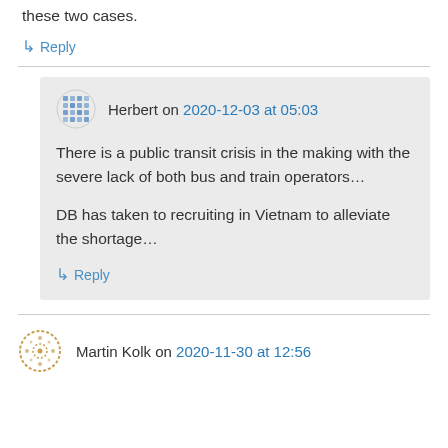these two cases.
↳ Reply
Herbert on 2020-12-03 at 05:03
There is a public transit crisis in the making with the severe lack of both bus and train operators…

DB has taken to recruiting in Vietnam to alleviate the shortage…
↳ Reply
Martin Kolk on 2020-11-30 at 12:56